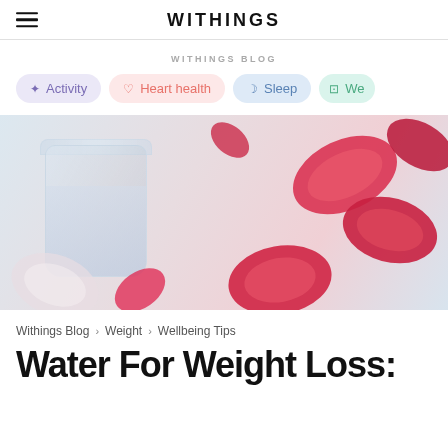WITHINGS
WITHINGS BLOG
Activity
Heart health
Sleep
We...
[Figure (photo): Overhead view of a glass mason jar with water and flower petals, surrounded by red rose petals on a white marble surface]
Withings Blog > Weight > Wellbeing Tips
Water For Weight Loss: